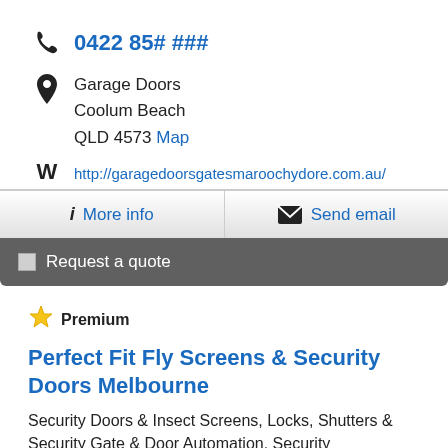0422 85# ###
Garage Doors
Coolum Beach
QLD 4573 Map
http://garagedoorsgatesmaroochydore.com.au/
More info
Send email
Request a quote
Premium
Perfect Fit Fly Screens & Security Doors Melbourne
Security Doors & Insect Screens, Locks, Shutters & Security Gate & Door Automation, Security